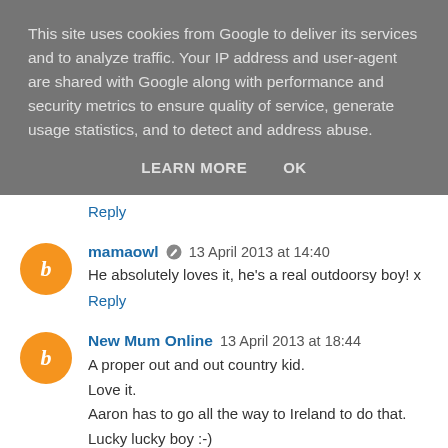This site uses cookies from Google to deliver its services and to analyze traffic. Your IP address and user-agent are shared with Google along with performance and security metrics to ensure quality of service, generate usage statistics, and to detect and address abuse.
LEARN MORE   OK
Reply
mamaowl  13 April 2013 at 14:40
He absolutely loves it, he's a real outdoorsy boy! x
Reply
New Mum Online  13 April 2013 at 18:44
A proper out and out country kid.
Love it.
Aaron has to go all the way to Ireland to do that.
Lucky lucky boy :-)